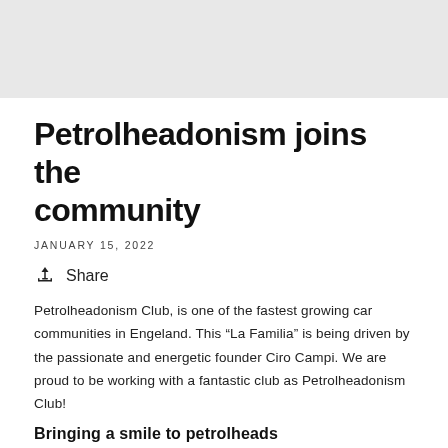[Figure (photo): Light grey hero banner image area at the top of the page]
Petrolheadonism joins the community
JANUARY 15, 2022
Share
Petrolheadonism Club, is one of the fastest growing car communities in Engeland. This “La Familia” is being driven by the passionate and energetic founder Ciro Campi. We are proud to be working with a fantastic club as Petrolheadonism Club!
Bringing a smile to petrolheads